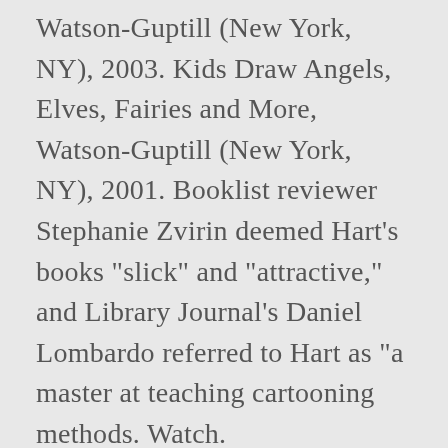Watson-Guptill (New York, NY), 2003. Kids Draw Angels, Elves, Fairies and More, Watson-Guptill (New York, NY), 2001. Booklist reviewer Stephanie Zvirin deemed Hart's books "slick" and "attractive," and Library Journal's Daniel Lombardo referred to Hart as "a master at teaching cartooning methods. Watch. Encyclopedia.com. Booklist, February 15, 1999, Stephanie Zvirin, reviews of How to Draw Cartoon Dogs, Puppies and Wolves and How to Draw Comic Book Bad Guys and Gals, p. 95; July, 2001, Francisca Goldsmith, review of Manga Mania: How to Draw Japanese Cartoons, p. 1995; March 15, 2002, review of Manga Mania, p. 1238; February 1, 2003, Carolyn Phelan, review of Kids Draw Anime, p.